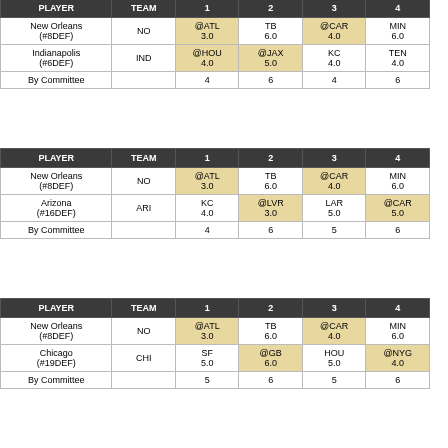| PLAYER | TEAM | 1 | 2 | 3 | 4 |
| --- | --- | --- | --- | --- | --- |
| New Orleans (#8DEF) | NO | @ATL 3.0 | TB 6.0 | @CAR 4.0 | MIN 6.0 |
| Indianapolis (#6DEF) | IND | @HOU 4.0 | @JAX 5.0 | KC 4.0 | TEN 4.0 |
| By Committee |  | 4 | 6 | 4 | 6 |
| PLAYER | TEAM | 1 | 2 | 3 | 4 |
| --- | --- | --- | --- | --- | --- |
| New Orleans (#8DEF) | NO | @ATL 3.0 | TB 6.0 | @CAR 4.0 | MIN 6.0 |
| Arizona (#16DEF) | ARI | KC 4.0 | @LVR 3.0 | LAR 5.0 | @CAR 5.0 |
| By Committee |  | 4 | 6 | 5 | 6 |
| PLAYER | TEAM | 1 | 2 | 3 | 4 |
| --- | --- | --- | --- | --- | --- |
| New Orleans (#8DEF) | NO | @ATL 3.0 | TB 6.0 | @CAR 4.0 | MIN 6.0 |
| Chicago (#19DEF) | CHI | SF 5.0 | @GB 6.0 | HOU 5.0 | @NYG 4.0 |
| By Committee |  | 5 | 6 | 5 | 6 |
| PLAYER | TEAM | 1 | 2 | 3 | 4 |
| --- | --- | --- | --- | --- | --- |
| New Orleans (#8DEF) | NO | @ATL 3.0 | TB 6.0 | @CAR 4.0 | MIN 6.0 |
| New York (#22DEF) | NYJ | BAL 6.0 | @CLE 4.0 | CIN 5.0 | @PIT 4.0 |
| By Committee |  | 6 | 6 | 5 | 6 |
| PLAYER | TEAM | 1 | 2 | 3 | 4 |
| --- | --- | --- | --- | --- | --- |
| New Orleans (#8DEF) | NO | @ATL 3.0 | TB 6.0 | @CAR 4.0 | MIN 6.0 |